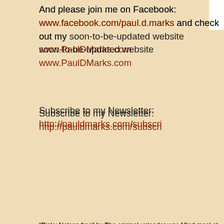And please join me on Facebook: www.facebook.com/paul.d.marks and check out my soon-to-be-updated website www.PaulDMarks.com
Subscribe to my Newsletter: http://pauldmarks.com/subscri…
"Ricky Nelson free" by The original uploader was Mind meal at English Wikipedia - Transferred Wikimedia Commons - http://commons.wikimedia.org/wiki/File:Ricky_Nelson_free.jpg#/media/…
Posted by Paul D. Marks at 00:01    29 comments  [email icon]
Labels: agents, California, conferences, editors, Paul D. Ma…
05 May 2015